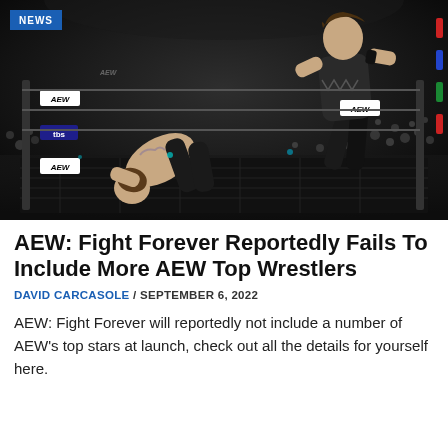[Figure (photo): AEW wrestling match photo showing one wrestler slamming another onto the mat inside an AEW wrestling ring with AEW and TBS logos visible on the ring apron, crowd in background, NEWS badge in top left corner]
AEW: Fight Forever Reportedly Fails To Include More AEW Top Wrestlers
DAVID CARCASOLE / SEPTEMBER 6, 2022
AEW: Fight Forever will reportedly not include a number of AEW's top stars at launch, check out all the details for yourself here.